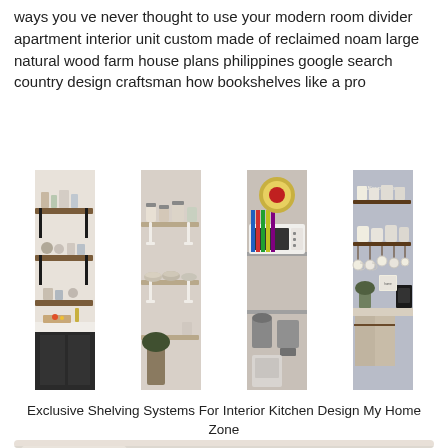ways you ve never thought to use your modern room divider apartment interior unit custom made of reclaimed noam large natural wood farm house plans philippines google search country design craftsman how bookshelves like a pro
[Figure (photo): A 4-panel photo collage of kitchen shelving systems showing open wood shelves with dishes and jars, white bracket shelves with pantry items, a shelving unit with microwave and stand mixer appliances, and a farmhouse-style wall with hanging mugs and coffee maker.]
Exclusive Shelving Systems For Interior Kitchen Design My Home Zone
[Figure (photo): Partial view of a bathroom with a round sink and white subway tile backsplash.]